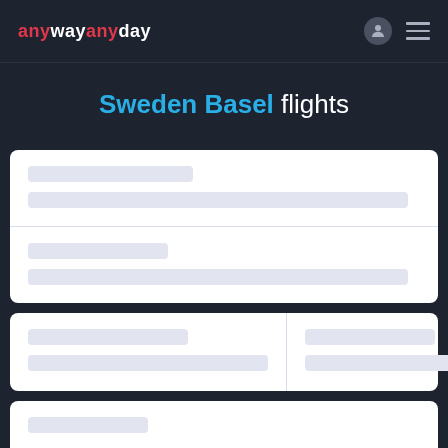anywayanyday
Sweden Basel flights
[Figure (screenshot): Loading skeleton UI with two full-width cards each containing two placeholder bars, one two-column card with placeholder bars in each column, and a partial fourth card at the bottom]